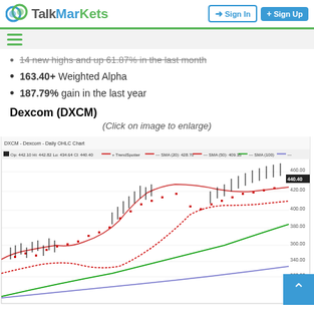TalkMarkets — Sign In | Sign Up
14 new highs and up 61.87% in the last month
163.40+ Weighted Alpha
187.79% gain in the last year
Dexcom (DXCM)
(Click on image to enlarge)
[Figure (continuous-plot): DXCM - Dexcom - Daily OHLC Chart showing candlestick price action with TrendSpotter, SMA(20) 428.70, SMA(50) 409.35, SMA(100) 357.31, SMA(200) 281.47 overlays. Price trending upward from approximately 240 to 440+ range. Op 442.10 Hi 442.82 Lo 434.64 Cl 440.40]